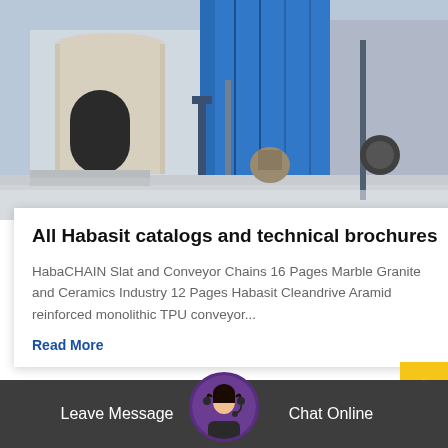[Figure (photo): Industrial facility exterior with large blue-wrapped cylindrical silos, concrete columns, pipes and equipment on a paved surface]
All Habasit catalogs and technical brochures
HabaCHAIN Slat and Conveyor Chains 16 Pages Marble Granite and Ceramics Industry 12 Pages Habasit Cleandrive Aramid reinforced monolithic TPU conveyor...
Read More
Leave Message   Chat Online